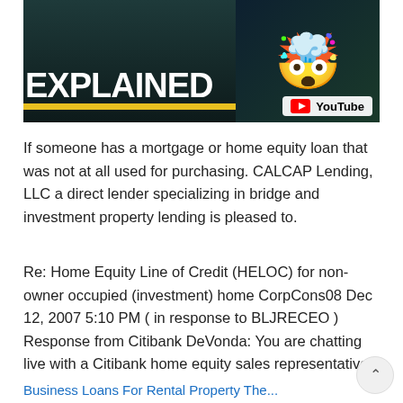[Figure (screenshot): YouTube video thumbnail showing the word EXPLAINED in large bold white text with a yellow bar underneath, a person holding an emoji with a shocked expression on the right, and a YouTube logo badge in the bottom right corner. Dark city background.]
If someone has a mortgage or home equity loan that was not at all used for purchasing. CALCAP Lending, LLC a direct lender specializing in bridge and investment property lending is pleased to.
Re: Home Equity Line of Credit (HELOC) for non-owner occupied (investment) home CorpCons08 Dec 12, 2007 5:10 PM ( in response to BLJRECEO ) Response from Citibank DeVonda: You are chatting live with a Citibank home equity sales representative.
Business Loans For Rental Property The...